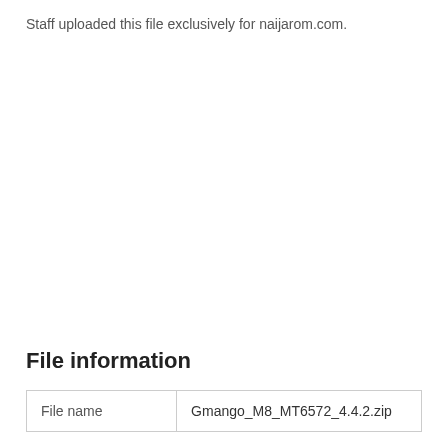Staff uploaded this file exclusively for naijarom.com.
File information
| File name | Gmango_M8_MT6572_4.4.2.zip |